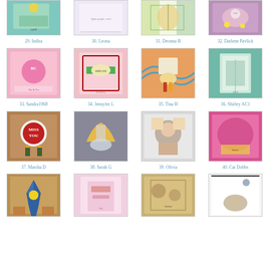[Figure (photo): Grid of craft/card thumbnail images with numbered labels. Row 1: partial images 29-32. Row 2: images 33-36. Row 3: images 37-40. Row 4: partial images 41-44.]
29. Indira
30. Leona
31. Deonna B
32. Darlene Pavlick
33. Sandra1968
34. Jennyfer L
35. Tina H
36. Shirley AC1
37. Marsha D
38. Sarah G
39. Olivia
40. Cat Dobbs
41. (partial)
42. (partial)
43. (partial)
44. (partial)